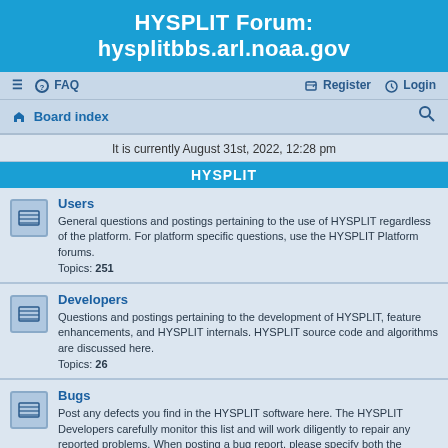HYSPLIT Forum: hysplitbbs.arl.noaa.gov
≡  FAQ    Register  Login
⌂ Board index   🔍
It is currently August 31st, 2022, 12:28 pm
HYSPLIT
Users
General questions and postings pertaining to the use of HYSPLIT regardless of the platform. For platform specific questions, use the HYSPLIT Platform forums.
Topics: 251
Developers
Questions and postings pertaining to the development of HYSPLIT, feature enhancements, and HYSPLIT internals. HYSPLIT source code and algorithms are discussed here.
Topics: 26
Bugs
Post any defects you find in the HYSPLIT software here. The HYSPLIT Developers carefully monitor this list and will work diligently to repair any reported problems. When posting a bug report, please specify both the HYSPLIT version and operating system you are using.
Topics: 52
Announce
Announcements pertaining to HYSPLIT, training materials, dispersion related jobs or research positions, or related software. This list is moderated and will